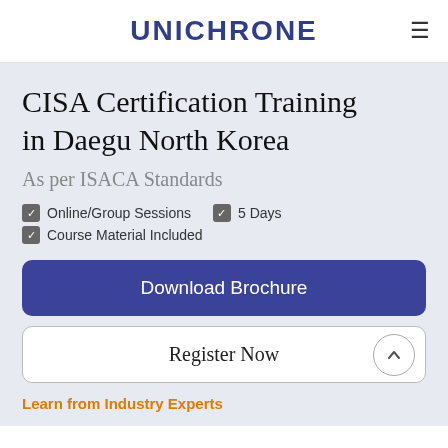UNICHRONE
CISA Certification Training in Daegu North Korea
As per ISACA Standards
Online/Group Sessions
5 Days
Course Material Included
Download Brochure
Register Now
Learn from Industry Experts